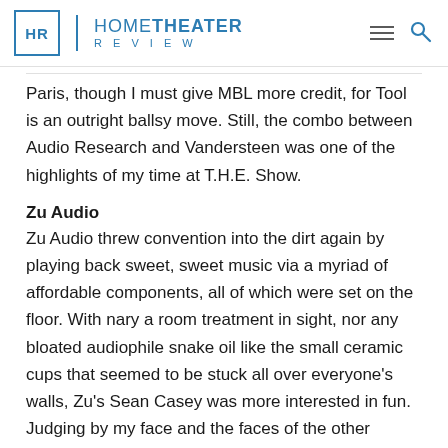HR | HOME THEATER REVIEW
Paris, though I must give MBL more credit, for Tool is an outright ballsy move. Still, the combo between Audio Research and Vandersteen was one of the highlights of my time at T.H.E. Show.
Zu Audio
Zu Audio threw convention into the dirt again by playing back sweet, sweet music via a myriad of affordable components, all of which were set on the floor. With nary a room treatment in sight, nor any bloated audiophile snake oil like the small ceramic cups that seemed to be stuck all over everyone's walls, Zu's Sean Casey was more interested in fun. Judging by my face and the faces of the other listeners in